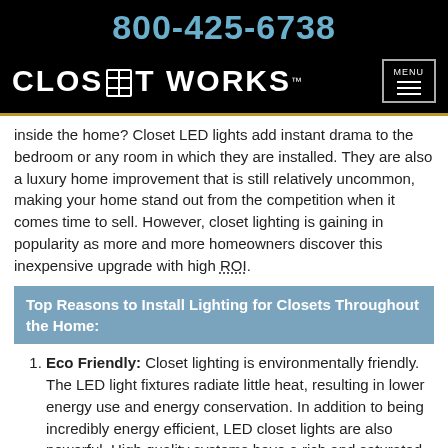800-425-6738
CLOSET WORKS™
inside the home? Closet LED lights add instant drama to the bedroom or any room in which they are installed. They are also a luxury home improvement that is still relatively uncommon, making your home stand out from the competition when it comes time to sell. However, closet lighting is gaining in popularity as more and more homeowners discover this inexpensive upgrade with high ROI.
Top Reasons to Install Lighting for Closets Throughout the Home:
Eco Friendly: Closet lighting is environmentally friendly. The LED light fixtures radiate little heat, resulting in lower energy use and energy conservation. In addition to being incredibly energy efficient, LED closet lights are also powerful. High quality systems have a rich and saturated color